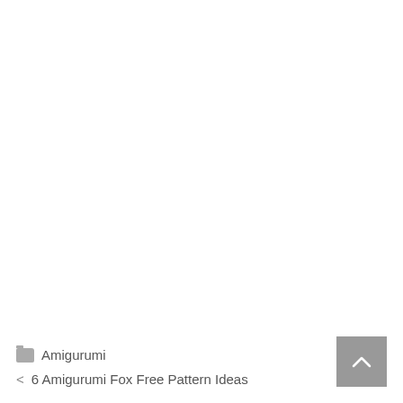Amigurumi
6 Amigurumi Fox Free Pattern Ideas